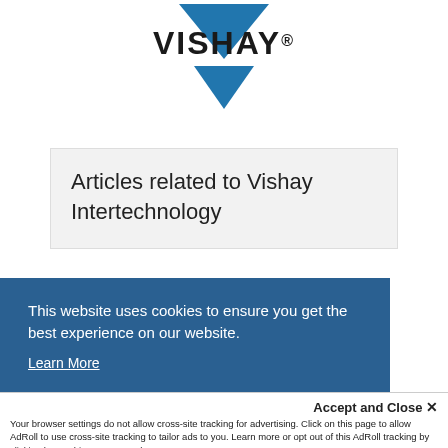[Figure (logo): Vishay logo with blue downward-pointing triangle chevron shape and VISHAY wordmark with registered trademark symbol]
Articles related to Vishay Intertechnology
This website uses cookies to ensure you get the best experience on our website.
Learn More
Accept and Close ✕
Your browser settings do not allow cross-site tracking for advertising. Click on this page to allow AdRoll to use cross-site tracking to tailor ads to you. Learn more or opt out of this AdRoll tracking by clicking here. This message only appears once.